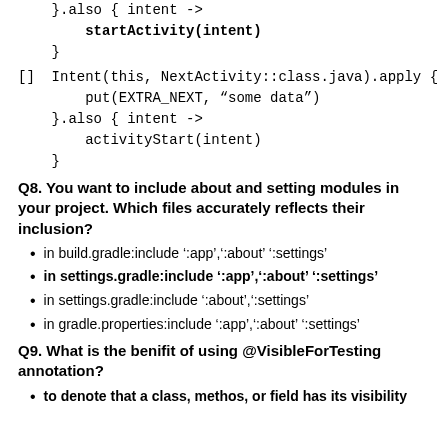}.also { intent ->
        startActivity(intent)
    }
[]  Intent(this, NextActivity::class.java).apply {
        put(EXTRA_NEXT, “some data”)
    }.also { intent ->
        activityStart(intent)
    }
Q8. You want to include about and setting modules in your project. Which files accurately reflects their inclusion?
in build.gradle:include ‘:app’,‘:about’ ‘:settings’
in settings.gradle:include ‘:app’,‘:about’ ‘:settings’
in settings.gradle:include ‘:about’,‘:settings’
in gradle.properties:include ‘:app’,‘:about’ ‘:settings’
Q9. What is the benifit of using @VisibleForTesting annotation?
to denote that a class, methos, or field has its visibility